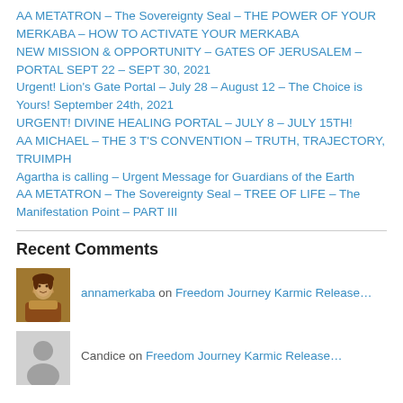AA METATRON – The Sovereignty Seal – THE POWER OF YOUR MERKABA – HOW TO ACTIVATE YOUR MERKABA
NEW MISSION & OPPORTUNITY – GATES OF JERUSALEM – PORTAL SEPT 22 – SEPT 30, 2021
Urgent! Lion's Gate Portal – July 28 – August 12 – The Choice is Yours! September 24th, 2021
URGENT! DIVINE HEALING PORTAL – JULY 8 – JULY 15TH!
AA MICHAEL – THE 3 T'S CONVENTION – TRUTH, TRAJECTORY, TRUIMPH
Agartha is calling – Urgent Message for Guardians of the Earth
AA METATRON – The Sovereignty Seal – TREE OF LIFE – The Manifestation Point – PART III
Recent Comments
annamerkaba on Freedom Journey Karmic Release…
Candice on Freedom Journey Karmic Release…